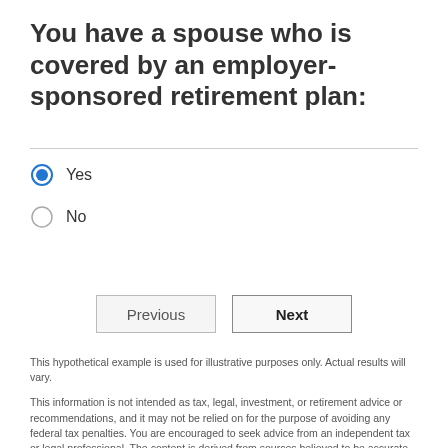You have a spouse who is covered by an employer-sponsored retirement plan:
Yes (selected)
No
This hypothetical example is used for illustrative purposes only. Actual results will vary.
This information is not intended as tax, legal, investment, or retirement advice or recommendations, and it may not be relied on for the purpose of avoiding any federal tax penalties. You are encouraged to seek advice from an independent tax or legal professional. The content is derived from sources believed to be accurate.